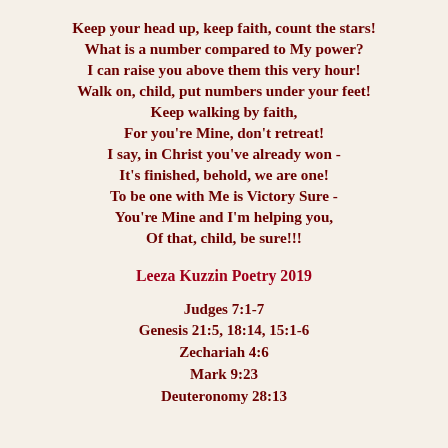Keep your head up, keep faith, count the stars!
What is a number compared to My power?
I can raise you above them this very hour!
Walk on, child, put numbers under your feet!
Keep walking by faith,
For you're Mine, don't retreat!
I say, in Christ you've already won -
It's finished, behold, we are one!
To be one with Me is Victory Sure -
You're Mine and I'm helping you,
Of that, child, be sure!!!
Leeza Kuzzin Poetry 2019
Judges 7:1-7
Genesis 21:5, 18:14, 15:1-6
Zechariah 4:6
Mark 9:23
Deuteronomy 28:13